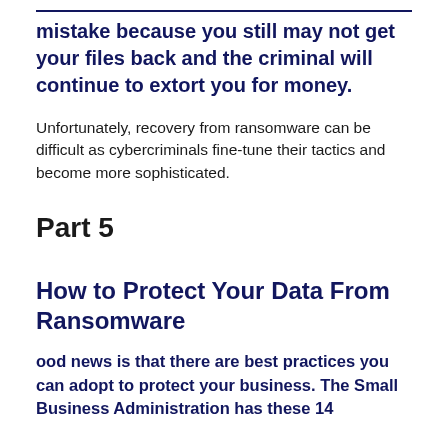mistake because you still may not get your files back and the criminal will continue to extort you for money.
Unfortunately, recovery from ransomware can be difficult as cybercriminals fine-tune their tactics and become more sophisticated.
Part 5
How to Protect Your Data From Ransomware
ood news is that there are best practices you can adopt to protect your business. The Small Business Administration has these 14